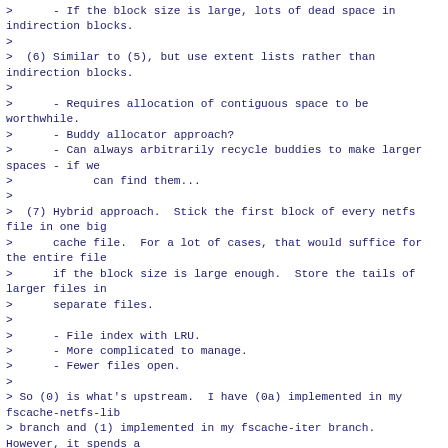>      - If the block size is large, lots of dead space in indirection blocks.
>
>  (6) Similar to (5), but use extent lists rather than indirection blocks.
>
>      - Requires allocation of contiguous space to be worthwhile.
>      - Buddy allocator approach?
>      - Can always arbitrarily recycle buddies to make larger spaces - if we
>            can find them...
>
>  (7) Hybrid approach.  Stick the first block of every netfs file in one big
>      cache file.  For a lot of cases, that would suffice for the entire file
>      if the block size is large enough.  Store the tails of larger files in
>      separate files.
>
>      - File index with LRU.
>      - More complicated to manage.
>      - Fewer files open.
>
> So (0) is what's upstream.  I have (0a) implemented in my fscache-netfs-lib
> branch and (1) implemented in my fscache-iter branch.  However, it spends a
> lot of cpu time doing synchronous metadata ops,